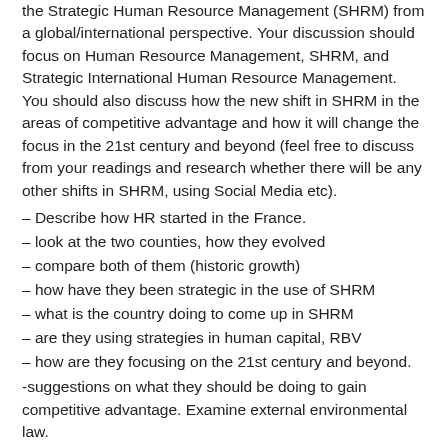the Strategic Human Resource Management (SHRM) from a global/international perspective. Your discussion should focus on Human Resource Management, SHRM, and Strategic International Human Resource Management. You should also discuss how the new shift in SHRM in the areas of competitive advantage and how it will change the focus in the 21st century and beyond (feel free to discuss from your readings and research whether there will be any other shifts in SHRM, using Social Media etc).
– Describe how HR started in the France.
– look at the two counties, how they evolved
– compare both of them (historic growth)
– how have they been strategic in the use of SHRM
– what is the country doing to come up in SHRM
– are they using strategies in human capital, RBV
– how are they focusing on the 21st century and beyond.
-suggestions on what they should be doing to gain competitive advantage. Examine external environmental law.
Click here and consider this done